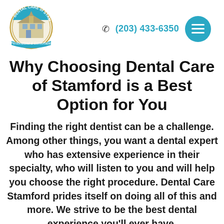[Figure (logo): Dental Care of Stamford circular logo with building illustration and banner reading 'Personalized & Comfortable']
(203) 433-6350
Why Choosing Dental Care of Stamford is a Best Option for You
Finding the right dentist can be a challenge. Among other things, you want a dental expert who has extensive experience in their specialty, who will listen to you and will help you choose the right procedure. Dental Care Stamford prides itself on doing all of this and more. We strive to be the best dental experience you'll ever have.